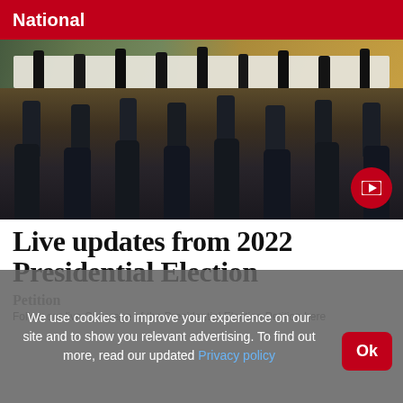National
[Figure (photo): A formal indoor gathering showing officials seated at a long white-draped table at the front of the room, with many attendees standing with their backs to the camera. Kenyan flag visible in background. A red circular play button overlay is in the bottom-right corner of the image.]
Live updates from 2022 Presidential Election
Petition
Follow our live Coverage of the Presidential Election Petition here
We use cookies to improve your experience on our site and to show you relevant advertising. To find out more, read our updated Privacy policy